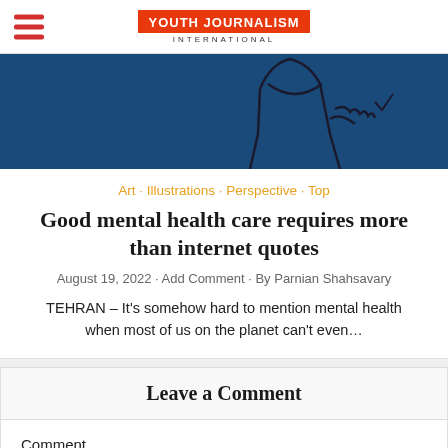Youth Journalism International
[Figure (illustration): Blue banner with line illustration of a person's torso/hand, drawn in outline style]
Art · Illustrations · Perspective · Top
Good mental health care requires more than internet quotes
August 19, 2022 • Add Comment • By Parnian Shahsavary
TEHRAN – It's somehow hard to mention mental health when most of us on the planet can't even…
Leave a Comment
Comment